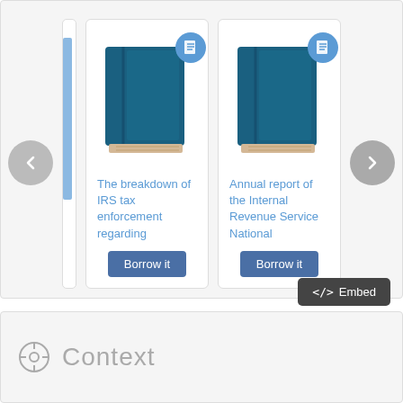[Figure (screenshot): A carousel UI showing book cards for IRS-related documents. Left card is partially visible (cropped). Middle card shows a teal book icon with badge and title 'The breakdown of IRS tax enforcement regarding' with a 'Borrow it' button. Right card shows similar book icon with title 'Annual report of the Internal Revenue Service National' and 'Borrow it' button. Left and right navigation arrows visible.]
The breakdown of IRS tax enforcement regarding
Annual report of the Internal Revenue Service National
Borrow it
Borrow it
</> Embed
Context